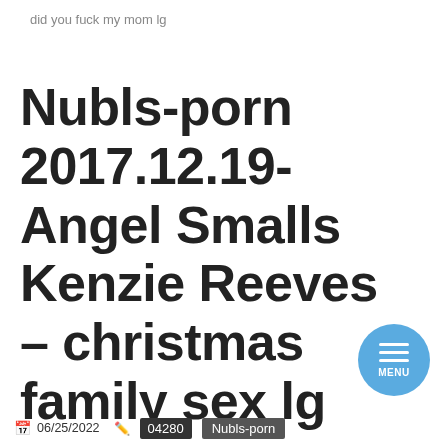did you fuck my mom lg
Nubls-porn 2017.12.19-Angel Smalls Kenzie Reeves – christmas family sex lg
[Figure (other): Circular blue menu button with three horizontal white lines and 'MENU' text below them]
06/25/2022  04280  Nubls-porn